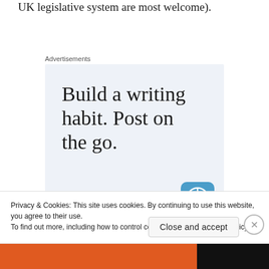UK legislative system are most welcome).
Advertisements
[Figure (illustration): Advertisement banner with light blue background. Large serif text reads 'Build a writing habit. Post on the go.' with a blue 'GET THE APP' call to action link and a WordPress logo icon in the bottom right corner.]
Privacy & Cookies: This site uses cookies. By continuing to use this website, you agree to their use.
To find out more, including how to control cookies, see here: Cookie Policy
Close and accept